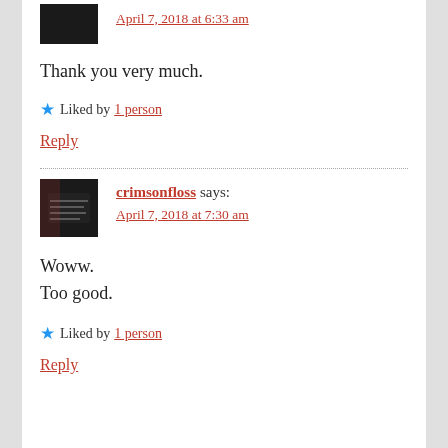April 7, 2018 at 6:33 am
Thank you very much.
Liked by 1 person
Reply
crimsonfloss says:
April 7, 2018 at 7:30 am
Woww.
Too good.
Liked by 1 person
Reply